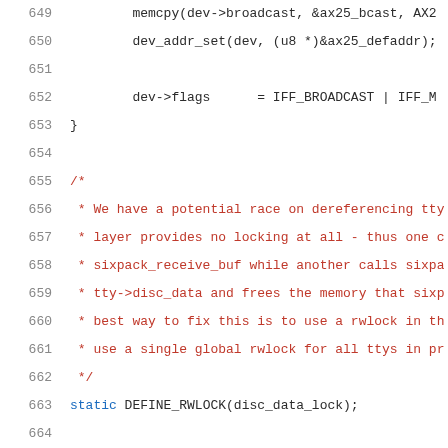[Figure (screenshot): Source code listing showing C code lines 649-669, with line numbers in gray, code in blue/red/plain colors, including memcpy, dev_addr_set, dev->flags assignments, a block comment about race conditions on tty dereferencing with rwlock fix, DEFINE_RWLOCK, mkiss_get function definition, and read_lock call.]